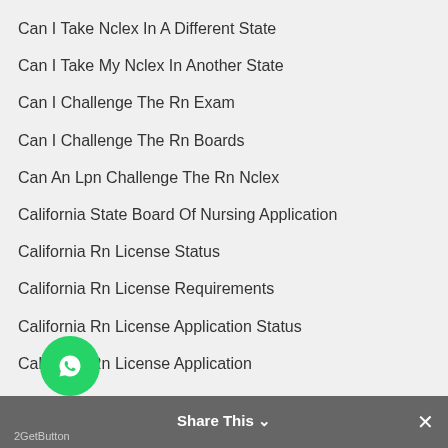Can I Take Nclex In A Different State
Can I Take My Nclex In Another State
Can I Challenge The Rn Exam
Can I Challenge The Rn Boards
Can An Lpn Challenge The Rn Nclex
California State Board Of Nursing Application
California Rn License Status
California Rn License Requirements
California Rn License Application Status
California Rn License Application
Categories
Examination
Hire Someone To Do Final Examination
Hire Someone To Do Job Placement Exam